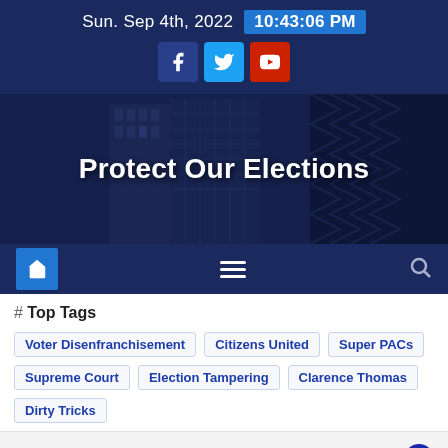Sun. Sep 4th, 2022  10:43:06 PM
[Figure (screenshot): Hero banner with building/skyscraper background photo and overlay text 'Protect Our Elections']
Protect Our Elections
# Top Tags
Voter Disenfranchisement
Citizens United
Super PACs
Supreme Court
Election Tampering
Clarence Thomas
Dirty Tricks
Polling Shows GOP Still Favored To Win The House